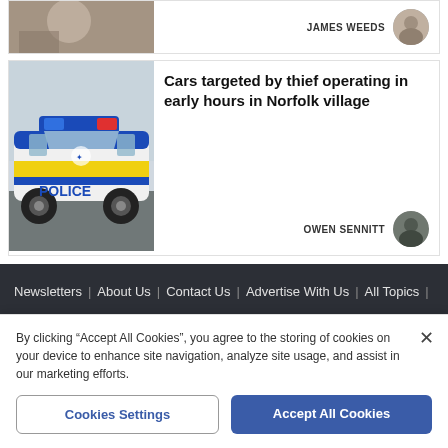[Figure (photo): Partial top of article card showing people at a table, with author name JAMES WEEDS and avatar on the right]
[Figure (photo): Police car with blue and yellow markings on the left side of article card]
Cars targeted by thief operating in early hours in Norfolk village
OWEN SENNITT
Newsletters | About Us | Contact Us | Advertise With Us | All Topics | Complaints |
By clicking "Accept All Cookies", you agree to the storing of cookies on your device to enhance site navigation, analyze site usage, and assist in our marketing efforts.
Cookies Settings
Accept All Cookies